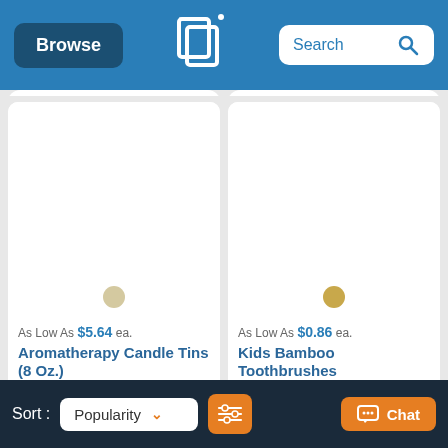[Figure (screenshot): E-commerce website header with Browse button, logo, and Search bar on blue background]
[Figure (screenshot): Product card: Aromatherapy Candle Tins (8 Oz.) - As Low As $5.64 ea.]
[Figure (screenshot): Product card: Kids Bamboo Toothbrushes - As Low As $0.86 ea.]
[Figure (screenshot): Bottom navigation bar with Sort, Popularity dropdown, filter button, and Chat button]